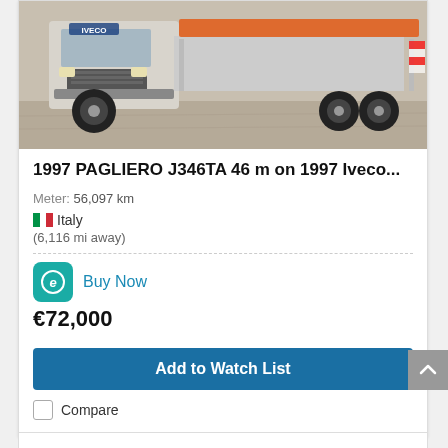[Figure (photo): Front view of a 1997 Iveco truck with crane/aerial work platform equipment, parked on a gravel surface. The truck is white/grey with orange equipment mounted on the rear.]
1997 PAGLIERO J346TA 46 m on 1997 Iveco...
Meter: 56,097 km
Italy (6,116 mi away)
Buy Now
€72,000
Add to Watch List
Compare